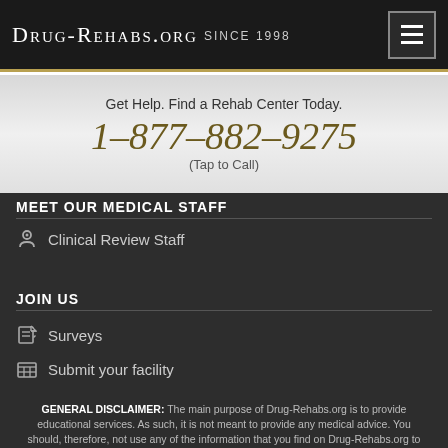Drug-Rehabs.org Since 1998
Get Help. Find a Rehab Center Today.
1-877-882-9275
(Tap to Call)
MEET OUR MEDICAL STAFF
Clinical Review Staff
JOIN US
Surveys
Submit your facility
GENERAL DISCLAIMER: The main purpose of Drug-Rehabs.org is to provide educational services. As such, it is not meant to provide any medical advice. You should, therefore, not use any of the information that you find on Drug-Rehabs.org to diagnose health problems and diseases. This information doesn't substitute or replace the professional care that you might receive. If you suspect that you have a medical condition, you should seek immediate medical attention.